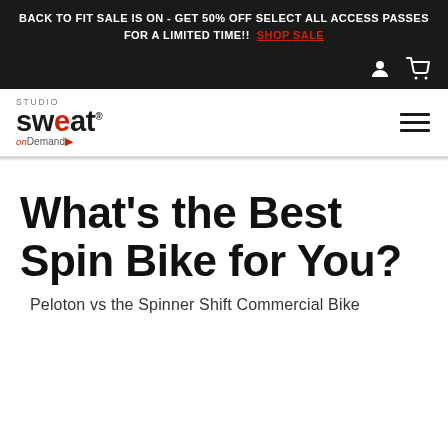BACK TO FIT SALE IS ON - GET 50% OFF SELECT ALL ACCESS PASSES FOR A LIMITED TIME!! SHOP SALE
[Figure (logo): Studio Sweat onDemand logo with hamburger menu icon]
What’s the Best Spin Bike for You?
Peloton vs the Spinner Shift Commercial Bike